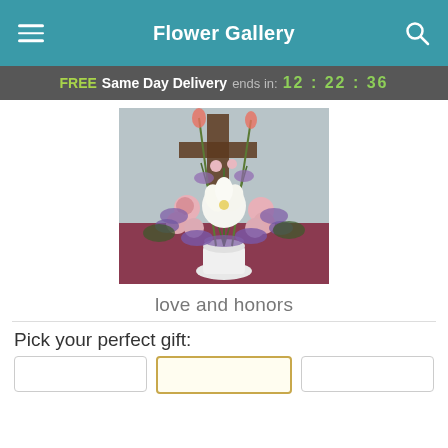Flower Gallery
FREE Same Day Delivery ends in: 12 : 22 : 36
[Figure (photo): A large floral arrangement in a white urn vase featuring pink roses, white lilies, purple lavender flowers, and tall gladiolus stems, set against a dark wooden cross backdrop.]
love and honors
Pick your perfect gift: